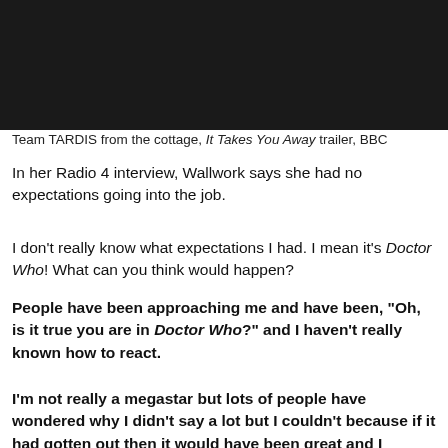[Figure (photo): Dark/black photo area showing Team TARDIS from the cottage scene]
Team TARDIS from the cottage, It Takes You Away trailer, BBC
In her Radio 4 interview, Wallwork says she had no expectations going into the job.
I don't really know what expectations I had. I mean it's Doctor Who! What can you think would happen?
People have been approaching me and have been, "Oh, is it true you are in Doctor Who?" and I haven't really known how to react.
I'm not really a megastar but lots of people have wondered why I didn't say a lot but I couldn't because if it had gotten out then it would have been great and I needed to keep it a secret and it was so difficult!